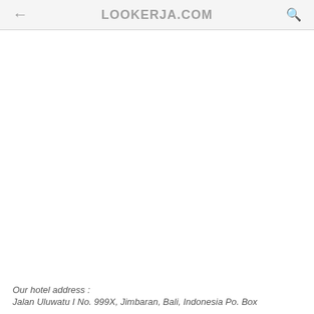LOOKERJA.COM
Our hotel address :
Jalan Uluwatu I No. 999X, Jimbaran, Bali, Indonesia Po. Box